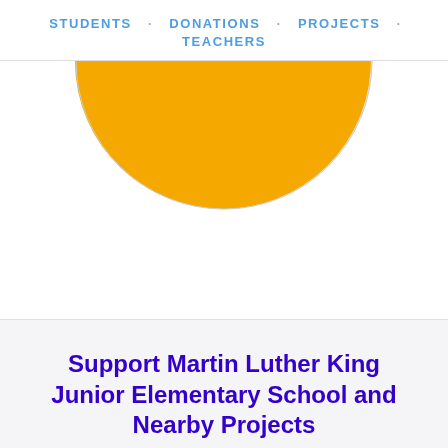STUDENTS · DONATIONS · PROJECTS · TEACHERS
[Figure (pie-chart): Partial view of a pie chart showing two visible slices: a large golden-yellow slice and a smaller dark navy/purple slice, cropped at the top of the page showing only the upper half of the chart.]
Support Martin Luther King Junior Elementary School and Nearby Projects